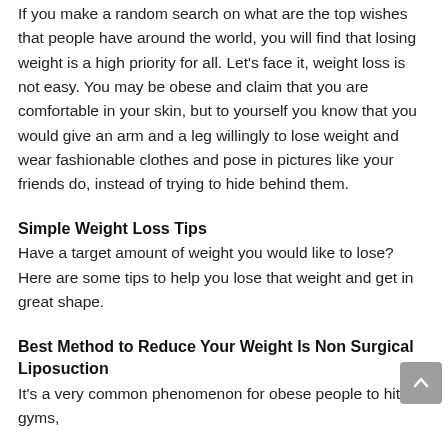If you make a random search on what are the top wishes that people have around the world, you will find that losing weight is a high priority for all. Let's face it, weight loss is not easy. You may be obese and claim that you are comfortable in your skin, but to yourself you know that you would give an arm and a leg willingly to lose weight and wear fashionable clothes and pose in pictures like your friends do, instead of trying to hide behind them.
Simple Weight Loss Tips
Have a target amount of weight you would like to lose? Here are some tips to help you lose that weight and get in great shape.
Best Method to Reduce Your Weight Is Non Surgical Liposuction
It's a very common phenomenon for obese people to hit gyms,